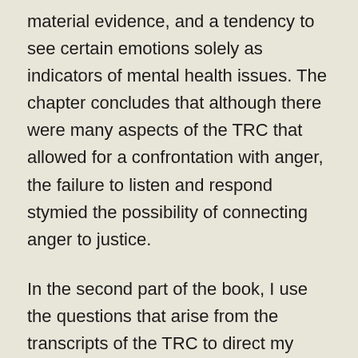material evidence, and a tendency to see certain emotions solely as indicators of mental health issues. The chapter concludes that although there were many aspects of the TRC that allowed for a confrontation with anger, the failure to listen and respond stymied the possibility of connecting anger to justice.
In the second part of the book, I use the questions that arise from the transcripts of the TRC to direct my excavation of the works of Hannah Arendt and Adam Smith, the theorists who represent the most powerful skeptics of the argument. In chapter 3 I adjudicate the tension between the value Hannah Arendt places on